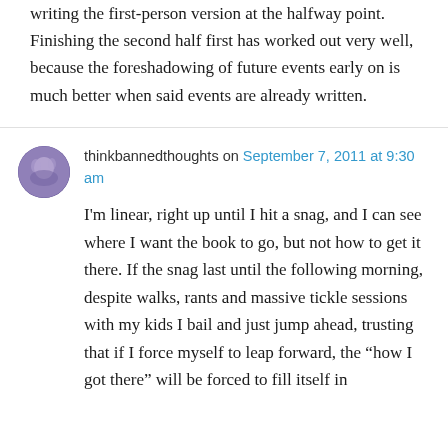writing the first-person version at the halfway point. Finishing the second half first has worked out very well, because the foreshadowing of future events early on is much better when said events are already written.
thinkbannedthoughts on September 7, 2011 at 9:30 am
I'm linear, right up until I hit a snag, and I can see where I want the book to go, but not how to get it there. If the snag last until the following morning, despite walks, rants and massive tickle sessions with my kids I bail and just jump ahead, trusting that if I force myself to leap forward, the "how I got there" will be forced to fill itself in